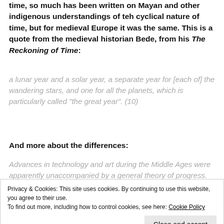time, so much has been written on Mayan and other indigenous understandings of teh cyclical nature of time, but for medieval Europe it was the same. This is a quote from the medieval historian Bede, from his The Reckoning of Time:
a lunar year and a solar year, a separate year for [each of] the wandering stars, and one for all the planets, which is particularly called “the great year”. (10)
And more about the differences:
Advances in technology and art during the Middle Ages were apparently unaccompanied by a general theory of progress. Until the sixteenth century an ‘inventor’ was, as
Privacy & Cookies: This site uses cookies. By continuing to use this website, you agree to their use.
To find out more, including how to control cookies, see here: Cookie Policy
Close and accept
(10)